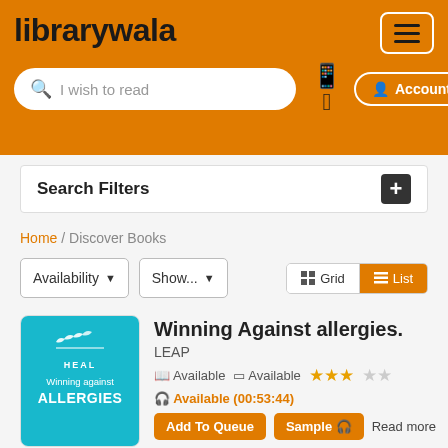librarywala — search bar placeholder: I wish to read — Account button — Android/Apple icons — hamburger menu
Search Filters
Home / Discover Books
Availability ▾   Show... ▾   Grid  List
[Figure (illustration): Book cover for 'Winning against ALLERGIES' by HEAL, teal/cyan background with white bird logo and text]
Winning Against allergies.
LEAP
📖 Available   📱 Available   ★★★☆☆
🎧 Available (00:53:44)
Add To Queue   Sample 🎧   Read more